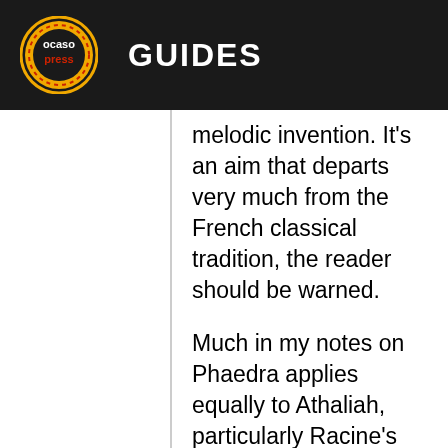Ocaso Press GUIDES
melodic invention. It's an aim that departs very much from the French classical tradition, the reader should be warned.
Much in my notes on Phaedra applies equally to Athaliah, particularly Racine's verse skills and my reasons for writing rhymed couplets rather than blank verse. Those views are echoed in the Mr. Argent's intentions, which are, I think, to create an academic version in the best tradition of the word. The formality, diction and the static, end-